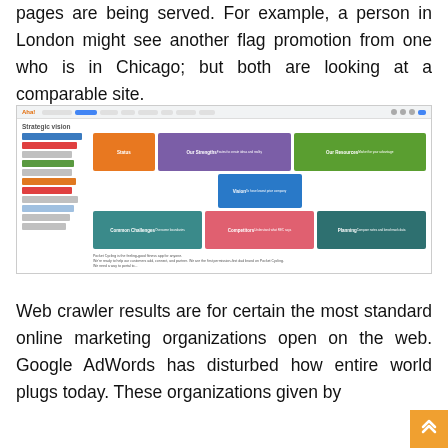pages are being served. For example, a person in London might see another flag promotion from one who is in Chicago; but both are looking at a comparable site.
[Figure (screenshot): Screenshot of a strategic vision mind-map tool (Aha! or similar) showing a sidebar with items and a main canvas with colored blocks: orange (Status), purple (Our Strengths), green (Our Resources), blue (Vision), teal (Common Challenges), salmon (Competitors), dark-teal (Planning), with footnote text below.]
Web crawler results are for certain the most standard online marketing organizations open on the web. Google AdWords has disturbed how entire world plugs today. These organizations given by